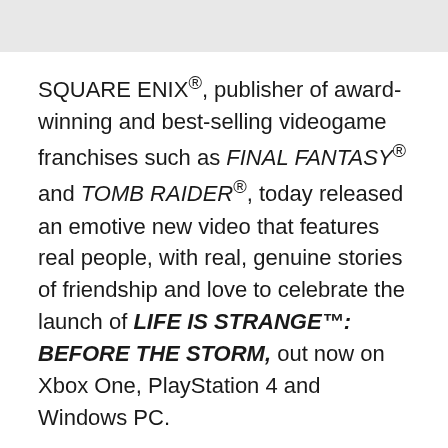SQUARE ENIX®, publisher of award-winning and best-selling videogame franchises such as FINAL FANTASY® and TOMB RAIDER®, today released an emotive new video that features real people, with real, genuine stories of friendship and love to celebrate the launch of LIFE IS STRANGE™: BEFORE THE STORM, out now on Xbox One, PlayStation 4 and Windows PC.
In LIFE IS STRANGE: BEFORE THE STORM, Chloe and Rachel develop a special bond over the time they spend together. Almost everyone